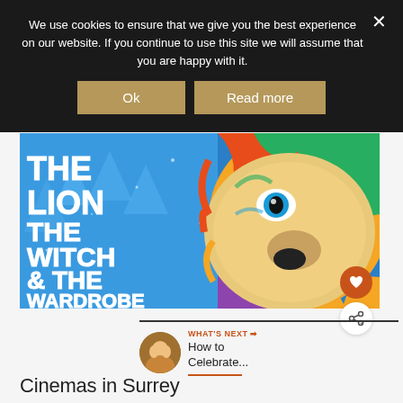We use cookies to ensure that we give you the best experience on our website. If you continue to use this site we will assume that you are happy with it.
[Figure (screenshot): Cookie consent banner with two gold buttons labeled 'Ok' and 'Read more', on a dark background with a close X button]
[Figure (illustration): Colorful pop-art lion illustration on a blue snowy background with bold white text reading 'THE LION THE WITCH & THE WARDROBE']
WHAT'S NEXT → How to Celebrate...
Cinemas in Surrey